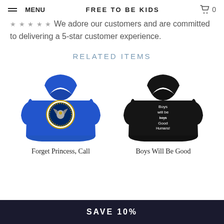MENU | FREE TO BE KIDS | 0
★ ★ ★ ★ ★ We adore our customers and are committed to delivering a 5-star customer experience.
RELATED ITEMS
[Figure (photo): Blue hoodie with presidential seal graphic]
[Figure (photo): Black hoodie with text 'Boys will be boys Good Humans']
Forget Princess, Call
Boys Will Be Good
SAVE 10%